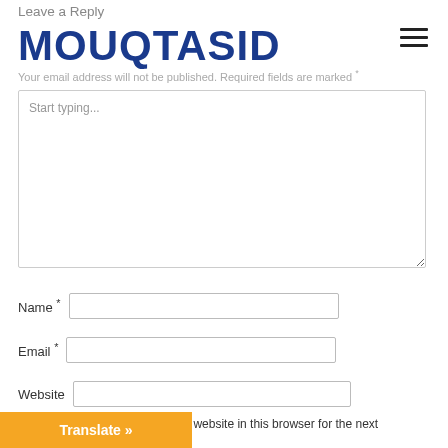MOUQTASID
Leave a Reply
Your email address will not be published. Required fields are marked *
Start typing...
Name *
Email *
Website
Save my name, email, and website in this browser for the next time I c
Translate »